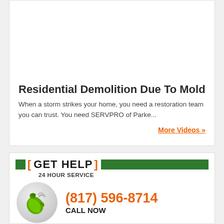[Figure (photo): Residential demolition scene showing damaged doorway with brick walls on the sides, interior damage visible]
Residential Demolition Due To Mold
When a storm strikes your home, you need a restoration team you can trust. You need SERVPRO of Parke...
More Videos »
[ GET HELP ] 24 HOUR SERVICE
(817) 596-8714 CALL NOW
REQUEST HELP ONLINE